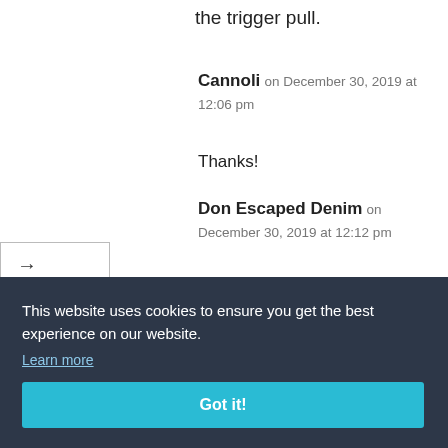the trigger pull.
Cannoli on December 30, 2019 at 12:06 pm
Thanks!
Don Escaped Denim on December 30, 2019 at 12:12 pm
Agreed
This website uses cookies to ensure you get the best experience on our website. Learn more
Got it!
fraction of the deal you